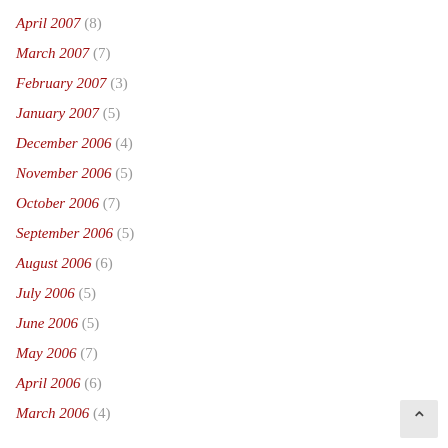April 2007 (8)
March 2007 (7)
February 2007 (3)
January 2007 (5)
December 2006 (4)
November 2006 (5)
October 2006 (7)
September 2006 (5)
August 2006 (6)
July 2006 (5)
June 2006 (5)
May 2006 (7)
April 2006 (6)
March 2006 (4)